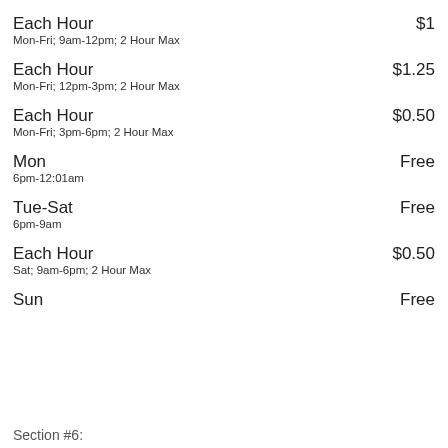Each Hour  $1
Mon-Fri; 9am-12pm; 2 Hour Max
Each Hour  $1.25
Mon-Fri; 12pm-3pm; 2 Hour Max
Each Hour  $0.50
Mon-Fri; 3pm-6pm; 2 Hour Max
Mon  Free
6pm-12:01am
Tue-Sat  Free
6pm-9am
Each Hour  $0.50
Sat; 9am-6pm; 2 Hour Max
Sun  Free
Section #6: